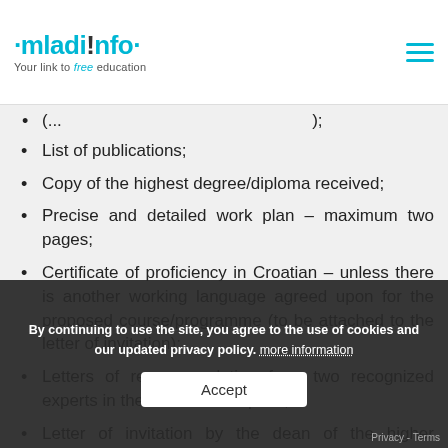mladi!nfo · Your link to free education
(truncated text – top of list, cut off)
List of publications;
Copy of the highest degree/diploma received;
Precise and detailed work plan – maximum two pages;
Certificate of proficiency in Croatian – unless there is another working language agreed upon for the proposed course/programme (to be attached to the letter of invitation);
Letters of recommendation from two recognized experts in the relevant discipline;
Letter of invitation by the dean of the higher education institution in Croatia confirming the doctoral programme upon which he/she does and that the applicant can take part in a tuiti... programme if he/she is accepted in the
By continuing to use the site, you agree to the use of cookies and our updated privacy policy. more information